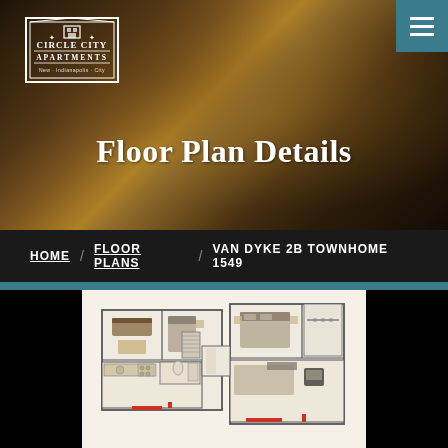[Figure (photo): Hero background photo of a modern apartment living room with dark wood floors, mid-century furniture, yellow rug, and warm lighting]
[Figure (logo): Circle City Apartments logo — white outlined hexagon/shield shape with text 'Circle City Apartments' and tagline 'New - Indianapolis - City']
Floor Plan Details
HOME / FLOOR PLANS / VAN DYKE 2B TOWNHOME 1549
[Figure (engineering-diagram): 3D floor plan top-down view of Van Dyke 2B Townhome showing two floors/sections with rooms, furniture layouts, staircase, bathroom, and living areas. Beige/cream floors with red accent door markings. Black border sections on left and right.]